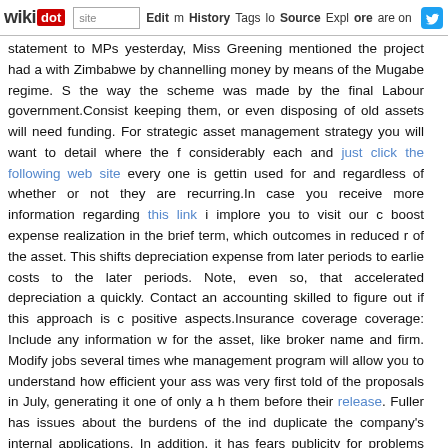wikidot | site | Edit | History | Tags | Source | Explore | Share on Twitter
statement to MPs yesterday, Miss Greening mentioned the project had a with Zimbabwe by channelling money by means of the Mugabe regime. S the way the scheme was made by the final Labour government.Consist keeping them, or even disposing of old assets will need funding. For strategic asset management strategy you will want to detail where the f considerably each and just click the following web site every one is gettin used for and regardless of whether or not they are recurring.In case you receive more information regarding this link i implore you to visit our c boost expense realization in the brief term, which outcomes in reduced r of the asset. This shifts depreciation expense from later periods to earlie costs to the later periods. Note, even so, that accelerated depreciation a quickly. Contact an accounting skilled to figure out if this approach is c positive aspects.Insurance coverage coverage: Include any information w for the asset, like broker name and firm. Modify jobs several times whe management program will allow you to understand how efficient your ass was very first told of the proposals in July, generating it one of only a h them before their release. Fuller has issues about the burdens of the ind duplicate the company's internal applications. In addition, it has fears publicity for problems they are functioning on whilst non-signatories w notoriety.Other final recommendations from the Treasury panel named companies, to give public annual reports containing relevant firm detai statements, to the oversight board. However, environmental advisers to t comparable to such financial reports is unlikely to give coalition membe Gerrity has been a Sunoco director since 1990 and was a board membe on the board when Fannie Mae's balance sheet took on massive danger prompted the ouster of Franklin D. Raines, Fannie's chief executive. So to lessen hospital overbilling, have an unparalleled record of returning ca in returned cash since 2009. But hospital resistance to the contractors ar largely stopped the recovery efforts.This transaction does two issues 1st